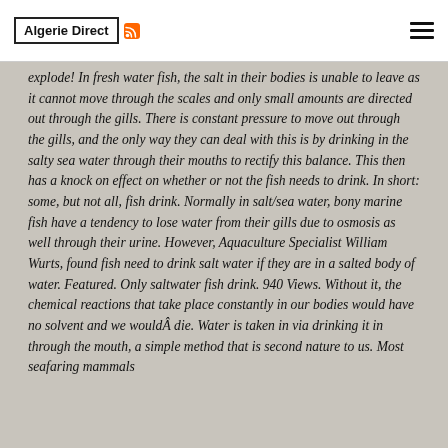Algerie Direct
explode! In fresh water fish, the salt in their bodies is unable to leave as it cannot move through the scales and only small amounts are directed out through the gills. There is constant pressure to move out through the gills, and the only way they can deal with this is by drinking in the salty sea water through their mouths to rectify this balance. This then has a knock on effect on whether or not the fish needs to drink. In short: some, but not all, fish drink. Normally in salt/sea water, bony marine fish have a tendency to lose water from their gills due to osmosis as well through their urine. However, Aquaculture Specialist William Wurts, found fish need to drink salt water if they are in a salted body of water. Featured. Only saltwater fish drink. 940 Views. Without it, the chemical reactions that take place constantly in our bodies would have no solvent and we wouldÂ die. Water is taken in via drinking it in through the mouth, a simple method that is second nature to us. Most seafaring mammals